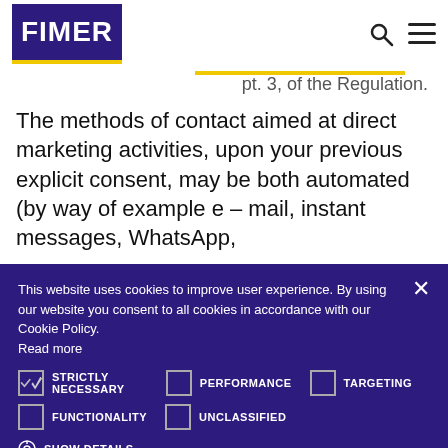FIMER
pt. 3, of the Regulation.
The methods of contact aimed at direct marketing activities, upon your previous explicit consent, may be both automated (by way of example e – mail, instant messages, WhatsApp,
This website uses cookies to improve user experience. By using our website you consent to all cookies in accordance with our Cookie Policy. Read more
STRICTLY NECESSARY   PERFORMANCE   TARGETING   FUNCTIONALITY   UNCLASSIFIED
SHOW DETAILS
ACCEPT ALL   DECLINE ALL